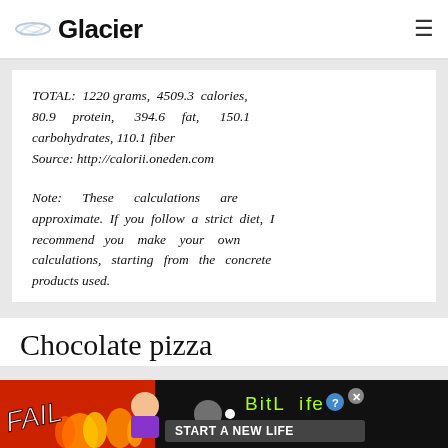Glacier
TOTAL: 1220 grams, 4509.3 calories, 80.9 protein, 394.6 fat, 150.1 carbohydrates, 110.1 fiber
Source: http://calorii.oneden.com
Note: These calculations are approximate. If you follow a strict diet, I recommend you make your own calculations, starting from the concrete products used.
Chocolate pizza
[Figure (screenshot): BitLife advertisement banner with FAIL text and 'START A NEW LIFE' tagline on red/black background]